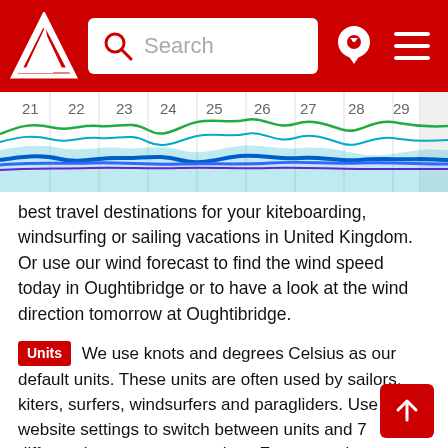Windguru — Search
[Figure (continuous-plot): Wind forecast chart showing wavy colored lines (green, blue, teal) across date columns 21-30, with a bold blue baseline and colorful wave pattern representing wind data over the period.]
best travel destinations for your kiteboarding, windsurfing or sailing vacations in United Kingdom. Or use our wind forecast to find the wind speed today in Oughtibridge or to have a look at the wind direction tomorrow at Oughtibridge.
Units  We use knots and degrees Celsius as our default units. These units are often used by sailors, kiters, surfers, windsurfers and paragliders. Use website settings to switch between units and 7 different languages at any time. For converting between wind speed units such as knots, km/h (kilometers per hour), m/s (meters per second), and mph (miles per hour) use our wind speed calculator.
Help  If you need more information about our wind forecast for Oughtibridge, have a look at our help section.